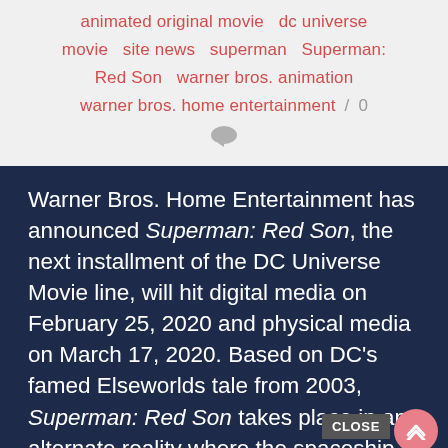animated original movie  dc universe movie  site news  superman  Superman: Red Son  warner bros. animation  warner bros. home entertainment / 0
Warner Bros. Home Entertainment has announced Superman: Red Son, the next installment of the DC Universe Movie line, will hit digital media on February 25, 2020 and physical media on March 17, 2020. Based on DC's famed Elseworlds tale from 2003, Superman: Red Son takes place in an alternate reality where the spaceship bearing the last survivor of Krypton crash lands – not in rural Kansas, but in